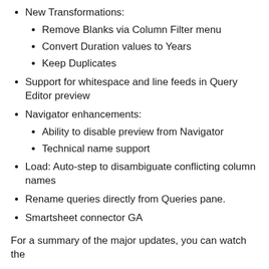New Transformations:
Remove Blanks via Column Filter menu
Convert Duration values to Years
Keep Duplicates
Support for whitespace and line feeds in Query Editor preview
Navigator enhancements:
Ability to disable preview from Navigator
Technical name support
Load: Auto-step to disambiguate conflicting column names
Rename queries directly from Queries pane.
Smartsheet connector GA
For a summary of the major updates, you can watch the